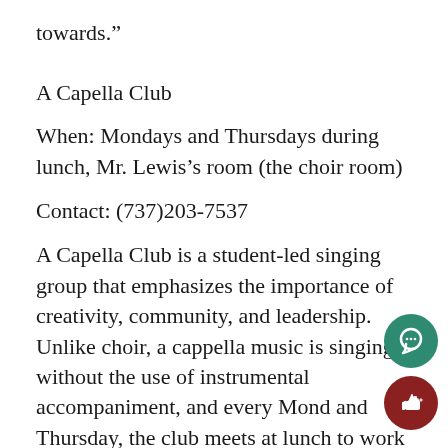towards.”
A Capella Club
When: Mondays and Thursdays during lunch, Mr. Lewis’s room (the choir room)
Contact: (737)203-7537
A Capella Club is a student-led singing group that emphasizes the importance of creativity, community, and leadership. Unlike choir, a cappella music is singing without the use of instrumental accompaniment, and every Monday and Thursday, the club meets at lunch to work new musical arrangements together.
According to senior and club officer Ella William